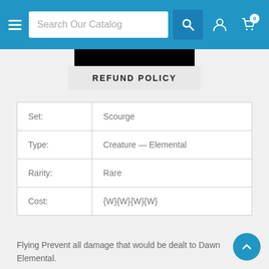Search Our Catalog
REFUND POLICY
| Set: | Scourge |
| Type: | Creature — Elemental |
| Rarity: | Rare |
| Cost: | {W}{W}{W}{W} |
Flying Prevent all damage that would be dealt to Dawn Elemental.
It was midnight on the Daru Plains, yet it seemed